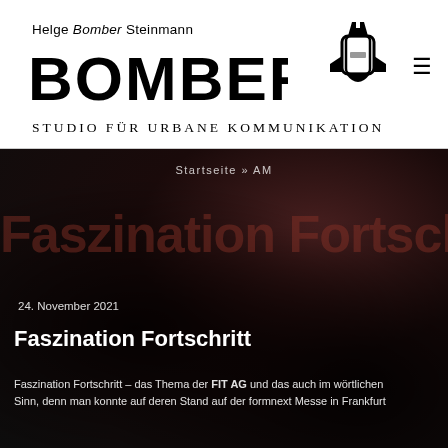[Figure (logo): Helge Bomber Steinmann logo with stylized BOMBER text and bomb icon, Studio für urbane Kommunikation tagline]
Startseite » AM
[Figure (photo): Dark textured background (wet stone/asphalt) with large faint text 'Faszination Fortschritt' visible in dark red]
24. November 2021
Faszination Fortschritt
Faszination Fortschritt – das Thema der FIT AG und das auch im wörtlichen Sinn, denn man konnte auf deren Stand auf der formnext Messe in Frankfurt ...